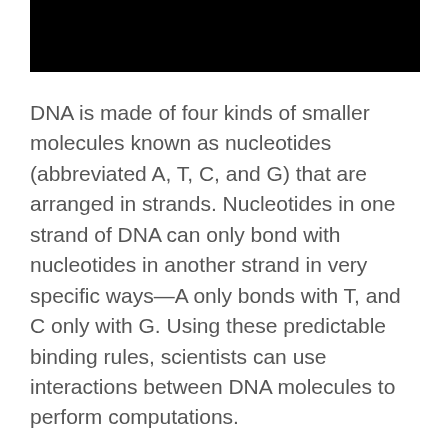[Figure (other): Black redacted bar at top of page]
DNA is made of four kinds of smaller molecules known as nucleotides (abbreviated A, T, C, and G) that are arranged in strands. Nucleotides in one strand of DNA can only bond with nucleotides in another strand in very specific ways—A only bonds with T, and C only with G. Using these predictable binding rules, scientists can use interactions between DNA molecules to perform computations.
The researchers synthesized both single-stranded and partially double-stranded molecules of DNA that floated around in saltwater. When single-stranded DNA molecules found partially double-stranded molecules with complementary